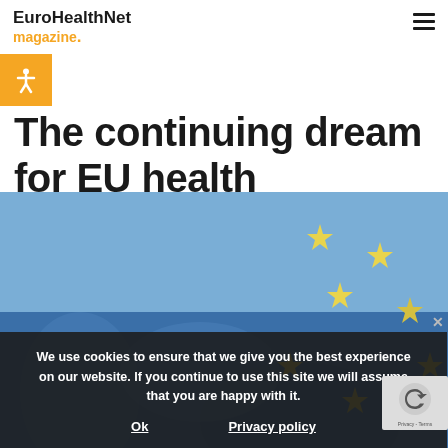EuroHealthNet magazine.
The continuing dream for EU health
[Figure (photo): EU flag with blue background and yellow stars, close-up draped fabric texture]
We use cookies to ensure that we give you the best experience on our website. If you continue to use this site we will assume that you are happy with it.
Ok   Privacy policy